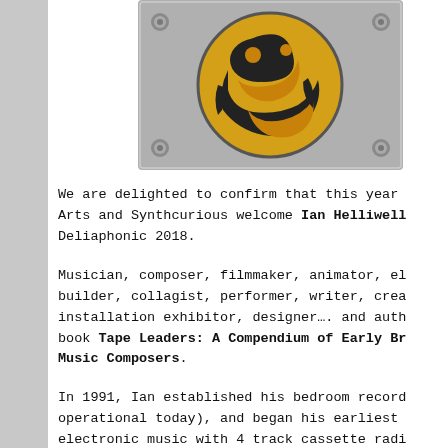[Figure (photo): A circular badge or medallion with an orange/yellow background and black silhouette design, mounted on a grey square metal plate with bolts at the corners.]
We are delighted to confirm that this year Arts and Synthcurious welcome Ian Helliwell to Deliaphonic 2018.
Musician, composer, filmmaker, animator, electronics builder, collagist, performer, writer, creator, installation exhibitor, designer…. and author of the book Tape Leaders: A Compendium of Early British Music Composers.
In 1991, Ian established his bedroom recording studio (still operational today), and began his earliest experiments in electronic music with 4 track cassette radio... started building simple tone generators whi...